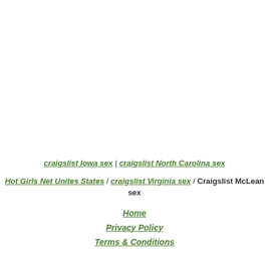craigslist Iowa sex | craigslist North Carolina sex
Hot Girls Net Unites States / craigslist Virginia sex / Craigslist McLean sex
Home
Privacy Policy
Terms & Conditions